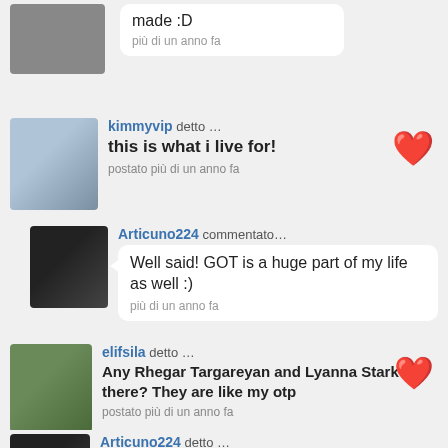made :D
più di un anno fa
kimmyvip detto … this is what i live for! postato più di un anno fa
Articuno224 commentato… Well said! GOT is a huge part of my life as well :) più di un anno fa
elifsila detto … Any Rhegar Targareyan and Lyanna Stark fan there? They are like my otp postato più di un anno fa
Articuno224 detto … A spot for the wonderful and talented Michelle Fairley! Please join! :)